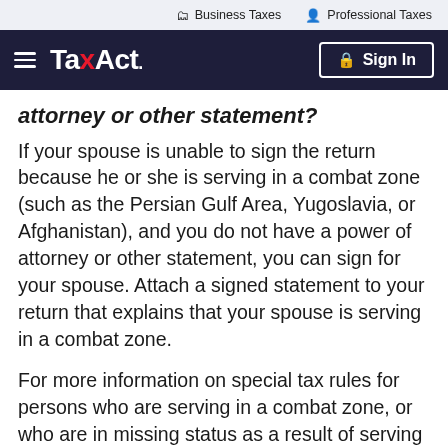Business Taxes   Professional Taxes
TaxAct   Sign In
attorney or other statement?
If your spouse is unable to sign the return because he or she is serving in a combat zone (such as the Persian Gulf Area, Yugoslavia, or Afghanistan), and you do not have a power of attorney or other statement, you can sign for your spouse. Attach a signed statement to your return that explains that your spouse is serving in a combat zone.
For more information on special tax rules for persons who are serving in a combat zone, or who are in missing status as a result of serving